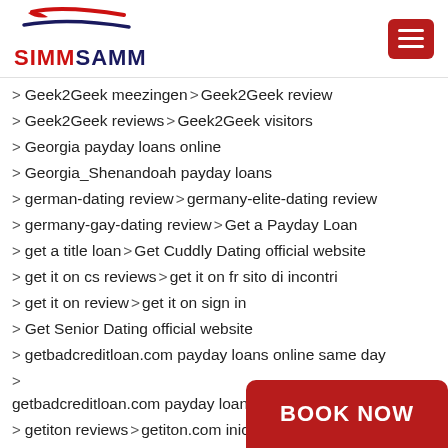SIMMSAMM
Geek2Geek meezingen > Geek2Geek review
Geek2Geek reviews > Geek2Geek visitors
Georgia payday loans online
Georgia_Shenandoah payday loans
german-dating review > germany-elite-dating review
germany-gay-dating review > Get a Payday Loan
get a title loan > Get Cuddly Dating official website
get it on cs reviews > get it on fr sito di incontri
get it on review > get it on sign in
Get Senior Dating official website
getbadcreditloan.com payday loans online same day
getbadcreditloan.com payday loans online same day deposit
getiton reviews > getiton.com iniciar sesion
getiton.com reviews > gilbe…
Girlsdateforfree dating reco…